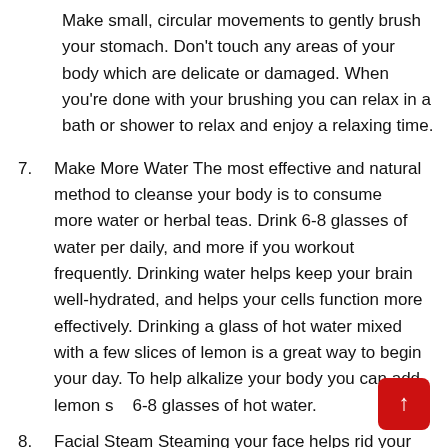Make small, circular movements to gently brush your stomach. Don't touch any areas of your body which are delicate or damaged. When you're done with your brushing you can relax in a bath or shower to relax and enjoy a relaxing time.
7. Make More Water The most effective and natural method to cleanse your body is to consume more water or herbal teas. Drink 6-8 glasses of water per daily, and more if you workout frequently. Drinking water helps keep your brain well-hydrated, and helps your cells function more effectively. Drinking a glass of hot water mixed with a few slices of lemon is a great way to begin your day. To help alkalize your body you can add lemon s... 6-8 glasses of hot water.
8. Facial Steam Steaming your face helps rid your...